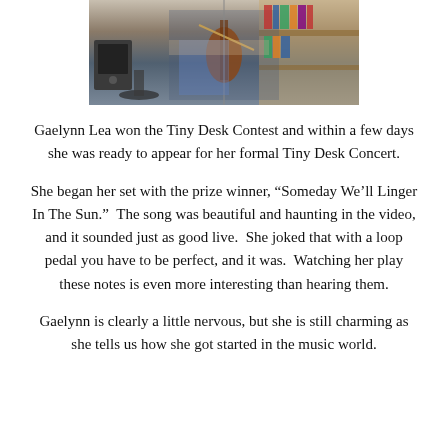[Figure (photo): Person playing violin/fiddle at a Tiny Desk Concert setting, with amplifier and shelves visible in background]
Gaelynn Lea won the Tiny Desk Contest and within a few days she was ready to appear for her formal Tiny Desk Concert.
She began her set with the prize winner, “Someday We’ll Linger In The Sun.”  The song was beautiful and haunting in the video, and it sounded just as good live.  She joked that with a loop pedal you have to be perfect, and it was.  Watching her play these notes is even more interesting than hearing them.
Gaelynn is clearly a little nervous, but she is still charming as she tells us how she got started in the music world.